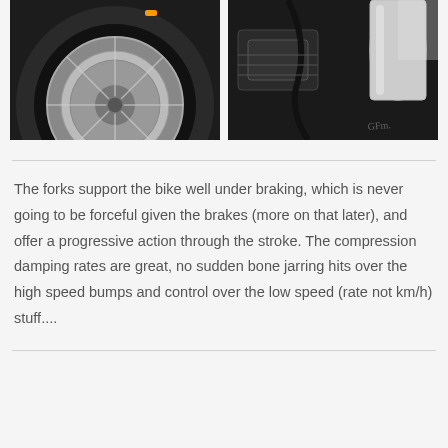[Figure (photo): Close-up photo of motorcycle front wheel with brake disc rotor, spoke wheel and tire visible]
[Figure (photo): Close-up photo of motorcycle engine and chrome components, black finish details]
The forks support the bike well under braking, which is never going to be forceful given the brakes (more on that later), and offer a progressive action through the stroke. The compression damping rates are great, no sudden bone jarring hits over the high speed bumps and control over the low speed (rate not km/h) stuff....